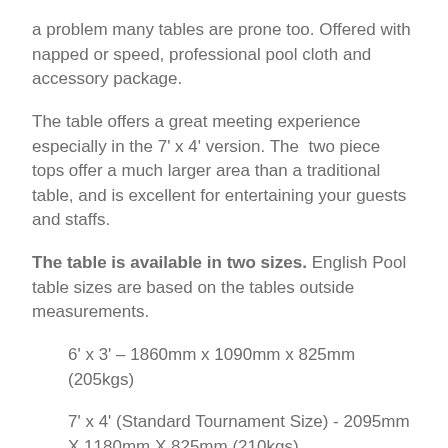a problem many tables are prone too. Offered with napped or speed, professional pool cloth and accessory package.
The table offers a great meeting experience especially in the 7' x 4' version. The two piece tops offer a much larger area than a traditional table, and is excellent for entertaining your guests and staffs.
The table is available in two sizes. English Pool table sizes are based on the tables outside measurements.
6' x 3' – 1860mm x 1090mm x 825mm (205kgs)
7' x 4' (Standard Tournament Size) - 2095mm X 1180mm X 825mm (210kgs)
You should have a minimum 4' space around the